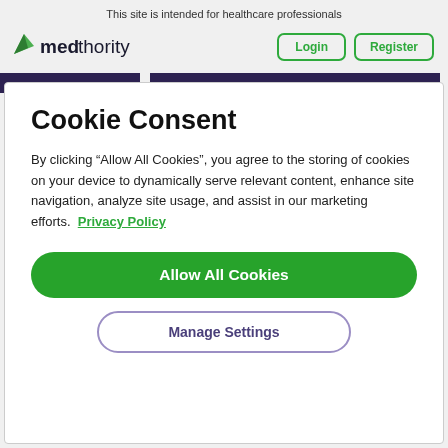This site is intended for healthcare professionals
[Figure (logo): Medthority logo with green leaf icon and dark text]
Cookie Consent
By clicking “Allow All Cookies”, you agree to the storing of cookies on your device to dynamically serve relevant content, enhance site navigation, analyze site usage, and assist in our marketing efforts. Privacy Policy
Allow All Cookies
Manage Settings